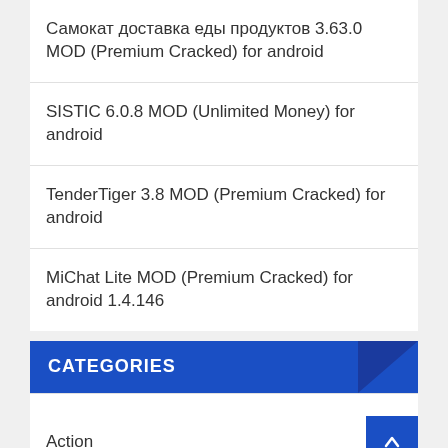Самокат доставка еды продуктов 3.63.0 MOD (Premium Cracked) for android
SISTIC 6.0.8 MOD (Unlimited Money) for android
TenderTiger 3.8 MOD (Premium Cracked) for android
MiChat Lite MOD (Premium Cracked) for android 1.4.146
CATEGORIES
Action